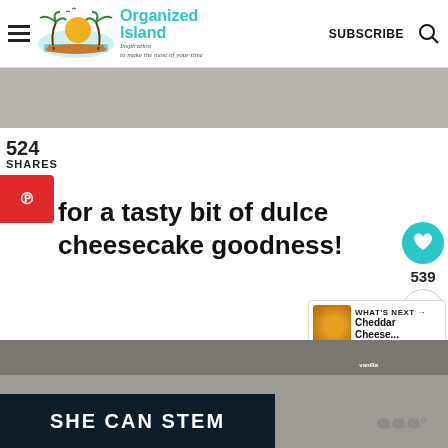Organized Island — Inspiration to make the most of your time | SUBSCRIBE
[Figure (photo): Gray textured surface photo band]
524
SHARES
for a tasty bit of dulce cheesecake goodness!
[Figure (photo): Bottom photo showing baking ingredients with SHE CAN STEM banner overlay and Wix logo]